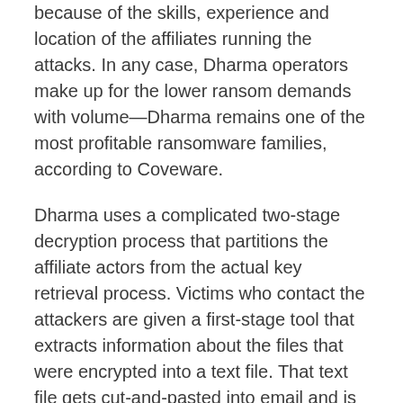because of the skills, experience and location of the affiliates running the attacks. In any case, Dharma operators make up for the lower ransom demands with volume—Dharma remains one of the most profitable ransomware families, according to Coveware.
Dharma uses a complicated two-stage decryption process that partitions the affiliate actors from the actual key retrieval process. Victims who contact the attackers are given a first-stage tool that extracts information about the files that were encrypted into a text file. That text file gets cut-and-pasted into email and is sent back to the affiliates—who then have to submit that data through a portal for the RaaS to obtain the actual keys. This keeps the affiliates dependent on the RaaS, and it keeps them paying for service.